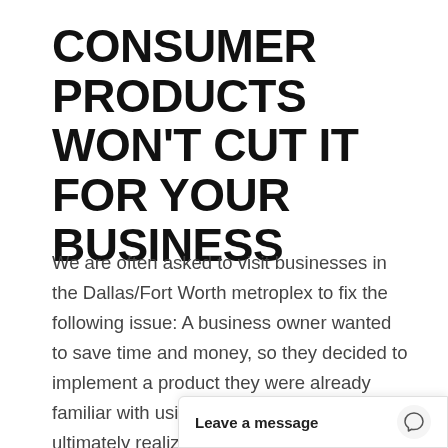CONSUMER PRODUCTS WON'T CUT IT FOR YOUR BUSINESS
We are often asked to visit businesses in the Dallas/Fort Worth metroplex to fix the following issue: A business owner wanted to save time and money, so they decided to implement a product they were already familiar with using in their home. What they ultimately realize is what works really well in a home does not always translate to a commercial boardroom setting. Poor connections, lo... inadequate device c...